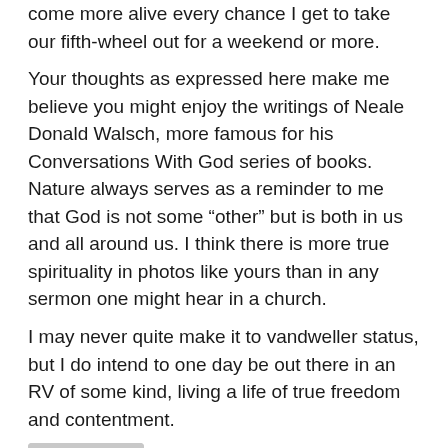come more alive every chance I get to take our fifth-wheel out for a weekend or more.
Your thoughts as expressed here make me believe you might enjoy the writings of Neale Donald Walsch, more famous for his Conversations With God series of books. Nature always serves as a reminder to me that God is not some “other” but is both in us and all around us. I think there is more true spirituality in photos like yours than in any sermon one might hear in a church.
I may never quite make it to vandweller status, but I do intend to one day be out there in an RV of some kind, living a life of true freedom and contentment.
[Figure (photo): User avatar placeholder — grey silhouette of a person on light grey background]